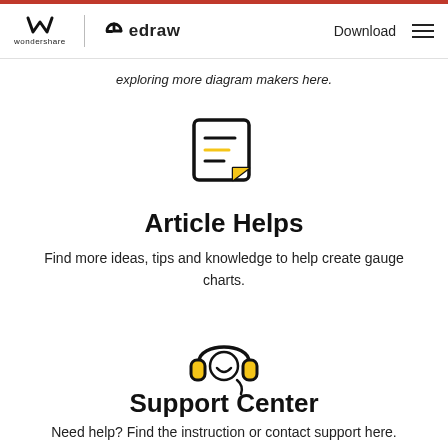wondershare | edraw   Download
exploring more diagram makers here.
[Figure (illustration): Document/notes icon with lines and a folded corner, outline style with yellow accent]
Article Helps
Find more ideas, tips and knowledge to help create gauge charts.
[Figure (illustration): Headset/headphones with a smiley face icon, outline style with yellow accent]
Support Center
Need help? Find the instruction or contact support here.